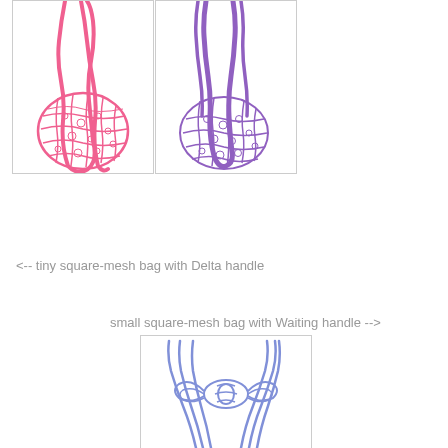[Figure (photo): Pink crochet net bag with long handles, shown on white background]
[Figure (photo): Purple crochet net bag with long handles, shown on white background]
<-- tiny square-mesh bag with Delta handle
small square-mesh bag with Waiting handle -->
[Figure (photo): Light blue/periwinkle crochet net bag top view showing the Waiting handle construction, shown on white background]